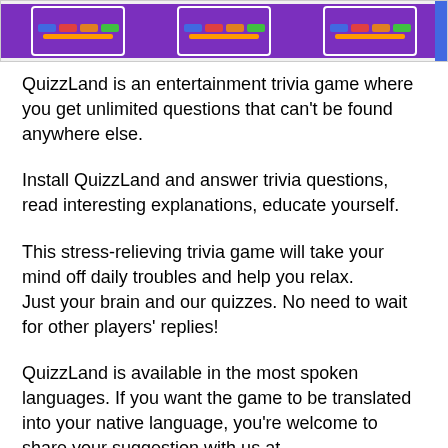[Figure (screenshot): Three mobile phone screenshots showing the QuizzLand trivia game interface with a purple background and colorful answer buttons, partially cropped with a blue sliver on the right.]
QuizzLand is an entertainment trivia game where you get unlimited questions that can't be found anywhere else.
Install QuizzLand and answer trivia questions, read interesting explanations, educate yourself.
This stress-relieving trivia game will take your mind off daily troubles and help you relax.
Just your brain and our quizzes. No need to wait for other players' replies!
QuizzLand is available in the most spoken languages. If you want the game to be translated into your native language, you're welcome to share your suggestion with us at contact@quizz.land.
Earn coins for correct answers and spend them on hints for the most challenging questions.